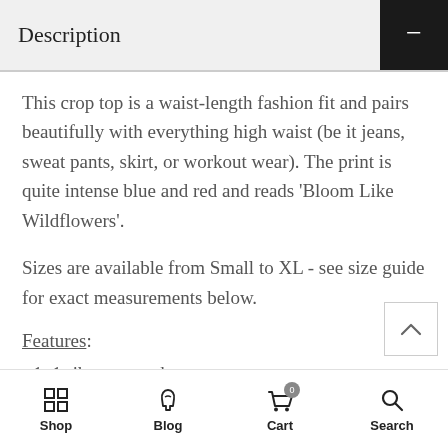Description
This crop top is a waist-length fashion fit and pairs beautifully with everything high waist (be it jeans, sweat pants, skirt, or workout wear). The print is quite intense blue and red and reads 'Bloom Like Wildflowers'.
Sizes are available from Small to XL - see size guide for exact measurements below.
Features:
- 1x1 rib crew neck
- rolled and secured sleeves
- twin needle hem
- 100% Organic Cott...
Shop | Blog | Cart | Search